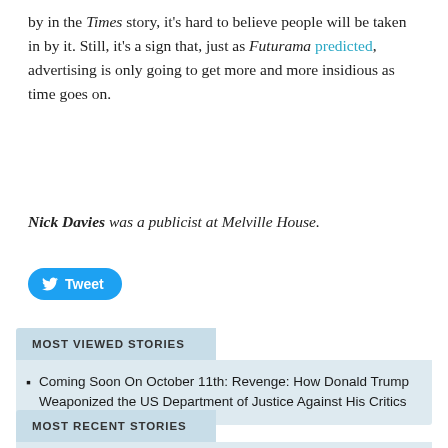by in the Times story, it's hard to believe people will be taken in by it. Still, it's a sign that, just as Futurama predicted, advertising is only going to get more and more insidious as time goes on.
Nick Davies was a publicist at Melville House.
[Figure (other): Tweet button - blue rounded button with Twitter bird icon and text 'Tweet']
MOST VIEWED STORIES
Coming Soon On October 11th: Revenge: How Donald Trump Weaponized the US Department of Justice Against His Critics
MOST RECENT STORIES
Coming Soon On October 11th: Revenge: How Donald Trump Weaponized the US Department of Justice Against His Critics